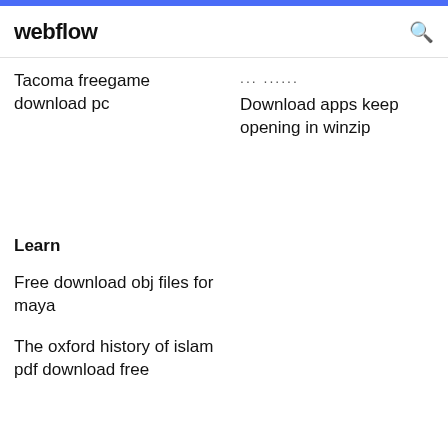webflow
Tacoma freegame download pc
... ... ...
Download apps keep opening in winzip
Learn
Free download obj files for maya
The oxford history of islam pdf download free